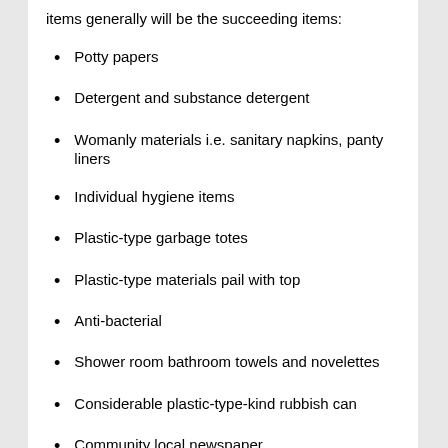items generally will be the succeeding items:
Potty papers
Detergent and substance detergent
Womanly materials i.e. sanitary napkins, panty liners
Individual hygiene items
Plastic-type garbage totes
Plastic-type materials pail with top
Anti-bacterial
Shower room bathroom towels and novelettes
Considerable plastic-type-kind rubbish can
Community local newspaper